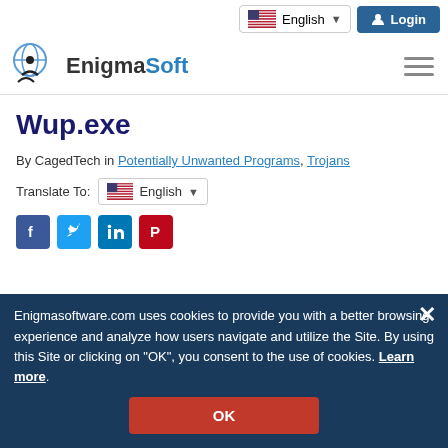English | Login
[Figure (logo): EnigmaSoft logo with globe and human figure icon, text 'EnigmaSoft' where 'Soft' is in blue]
Wup.exe
By CagedTech in Potentially Unwanted Programs, Trojans
Translate To: English
[Figure (infographic): Social share icons: Facebook, Twitter, LinkedIn, Pinterest]
Enigmasoftware.com uses cookies to provide you with a better browsing experience and analyze how users navigate and utilize the Site. By using this Site or clicking on "OK", you consent to the use of cookies. Learn more.